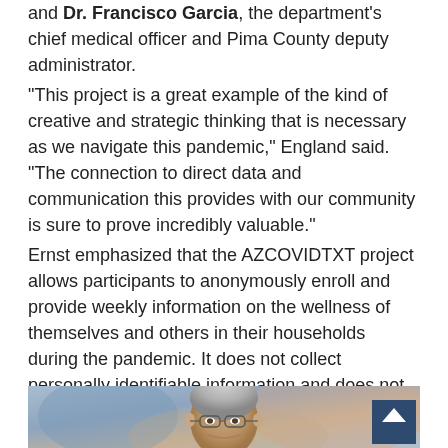and Dr. Francisco Garcia, the department's chief medical officer and Pima County deputy administrator.
"This project is a great example of the kind of creative and strategic thinking that is necessary as we navigate this pandemic," England said. "The connection to direct data and communication this provides with our community is sure to prove incredibly valuable."
Ernst emphasized that the AZCOVIDTXT project allows participants to anonymously enroll and provide weekly information on the wellness of themselves and others in their households during the pandemic. It does not collect personally identifiable information and does not attempt to locate or track participants.
[Figure (photo): Headshot photo of Dr. Francisco Garcia, a middle-aged man with gray hair and glasses, smiling, against a blurred colorful background. A dark blue scroll-to-top button with an upward arrow is visible in the bottom right corner.]